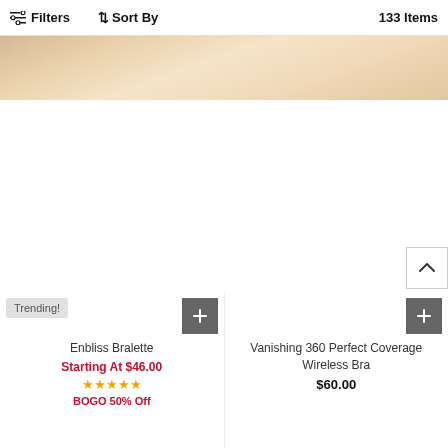Filters  Sort By  133 Items
[Figure (photo): Partial hero image showing beige/cream colored fabric or product background]
[Figure (other): Scroll-to-top button with upward caret arrow]
Trending!
Enbliss Bralette
Starting At $46.00
★★★★½
BOGO 50% Off
Vanishing 360 Perfect Coverage Wireless Bra
$60.00